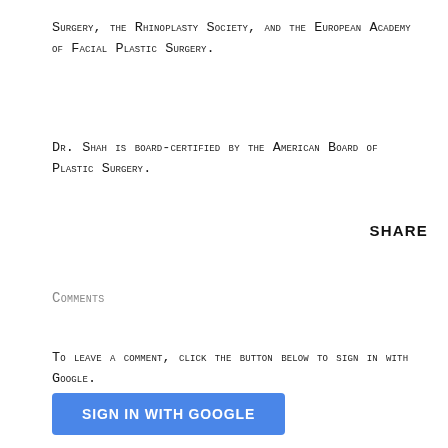Surgery, the Rhinoplasty Society, and the European Academy of Facial Plastic Surgery.
Dr. Shah is board-certified by the American Board of Plastic Surgery.
SHARE
Comments
To leave a comment, click the button below to sign in with Google.
SIGN IN WITH GOOGLE